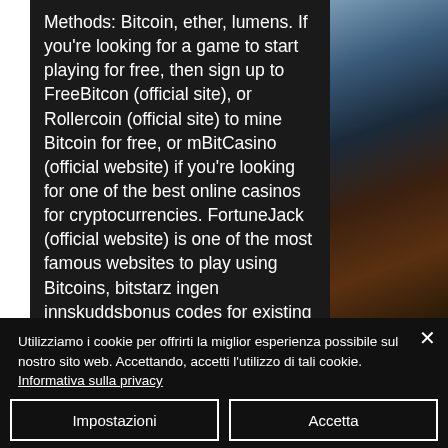Methods: Bitcoin, ether, lumens. If you're looking for a game to start playing for free, then sign up to FreeBitcon (official site), or Rollercoin (official site) to mine Bitcoin for free, or mBitCasino (official website) if you're looking for one of the best online casinos for cryptocurrencies. FortuneJack (official website) is one of the most famous websites to play using Bitcoins, bitstarz ingen innskuddsbonus codes for existing users 2022. This year's game developer's convention becomes populated with experts who were bringing up blockchain and cryptocurrency, bitstarz ingen
[Figure (photo): A person's face partially visible on the right side of the page]
Utilizziamo i cookie per offrirti la miglior esperienza possibile sul nostro sito web. Accettando, accetti l'utilizzo di tali cookie. Informativa sulla privacy
Impostazioni
Accetta